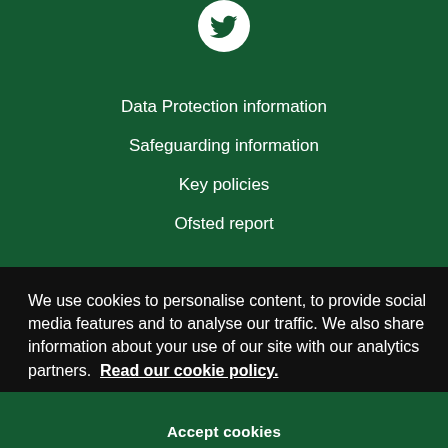[Figure (logo): Twitter bird icon in white on a circular white background]
Data Protection information
Safeguarding information
Key policies
Ofsted report
Vacancies
We use cookies to personalise content, to provide social media features and to analyse our traffic. We also share information about your use of our site with our analytics partners.  Read our cookie policy.
Accept cookies